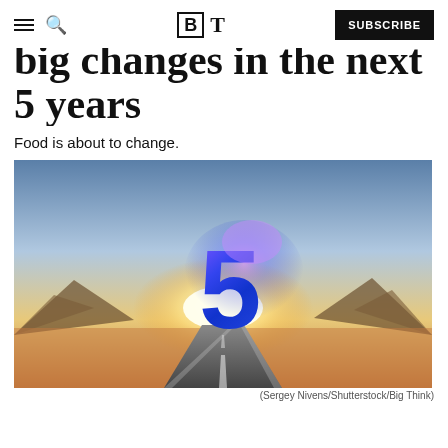BT — SUBSCRIBE
big changes in the next 5 years
Food is about to change.
[Figure (photo): A dramatic landscape photo showing a long road stretching into the horizon with mountains and a bright sunrise/sunset. A large glowing blue number '5' floats in the center of the image with a purple-pink light glow effect.]
(Sergey Nivens/Shutterstock/Big Think)